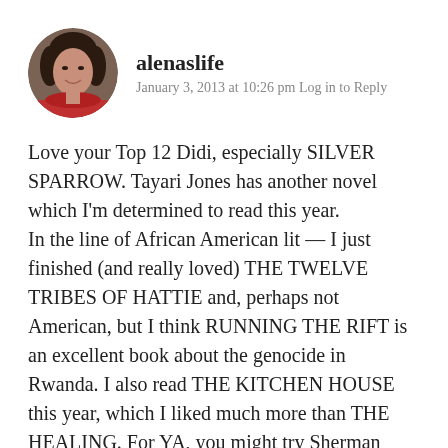[Figure (photo): Circular avatar photo of a woman smiling, appearing to be of mixed heritage, wearing a reddish scarf]
alenaslife
January 3, 2013 at 10:26 pm Log in to Reply
Love your Top 12 Didi, especially SILVER SPARROW. Tayari Jones has another novel which I'm determined to read this year.
In the line of African American lit — I just finished (and really loved) THE TWELVE TRIBES OF HATTIE and, perhaps not American, but I think RUNNING THE RIFT is an excellent book about the genocide in Rwanda. I also read THE KITCHEN HOUSE this year, which I liked much more than THE HEALING. For YA, you might try Sherman Alexie. His work is funny and serious. I'm also a big John Green fan. I encourage both you and Erika to find THE FAULT